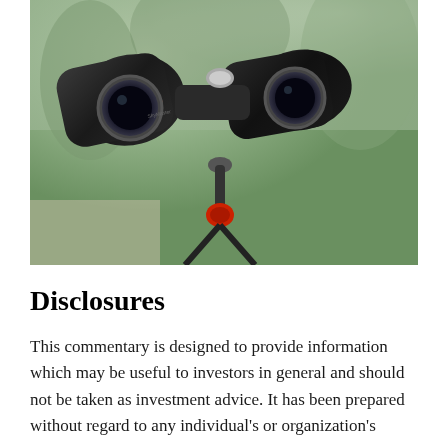[Figure (photo): A large pair of black binoculars mounted on a tripod with red accents, photographed against a blurred green outdoor background with trees. The binoculars are pointed toward the viewer showing the objective lenses and body detail.]
Disclosures
This commentary is designed to provide information which may be useful to investors in general and should not be taken as investment advice. It has been prepared without regard to any individual's or organization's